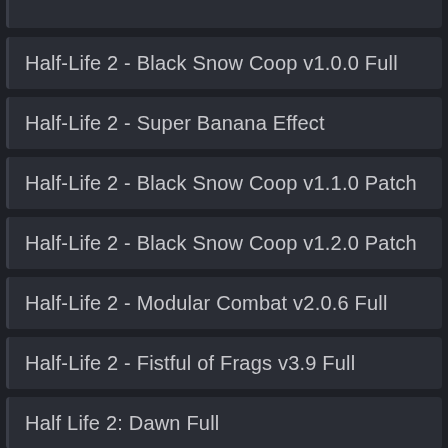Half-Life 2 - Black Snow Coop v1.0.0 Full
Half-Life 2 - Super Banana Effect
Half-Life 2 - Black Snow Coop v1.1.0 Patch
Half-Life 2 - Black Snow Coop v1.2.0 Patch
Half-Life 2 - Modular Combat v2.0.6 Full
Half-Life 2 - Fistful of Frags v3.9 Full
Half Life 2: Dawn Full
Half-Life 2 - Aftermath v0.3a Full